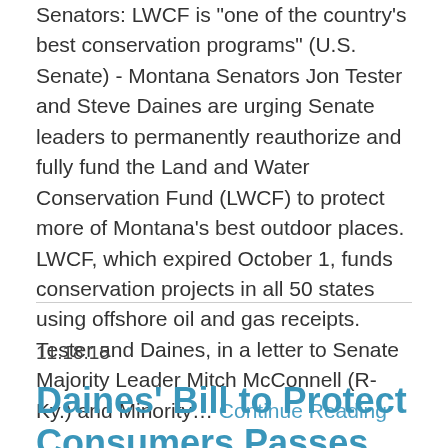Senators: LWCF is "one of the country's best conservation programs" (U.S. Senate) - Montana Senators Jon Tester and Steve Daines are urging Senate leaders to permanently reauthorize and fully fund the Land and Water Conservation Fund (LWCF) to protect more of Montana's best outdoor places. LWCF, which expired October 1, funds conservation projects in all 50 states using offshore oil and gas receipts. Tester and Daines, in a letter to Senate Majority Leader Mitch McConnell (R-Ky.) and Minority… Continue Reading
11.18.15
Daines' Bill to Protect Consumers Passes Senate